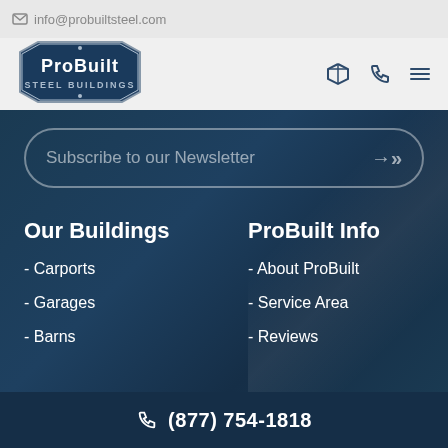info@probuiltsteel.com
[Figure (logo): ProBuilt Steel Buildings hexagonal badge logo in silver and dark blue with white bold text]
Subscribe to our Newsletter
Our Buildings
ProBuilt Info
- Carports
- Garages
- Barns
- About ProBuilt
- Service Area
- Reviews
(877) 754-1818